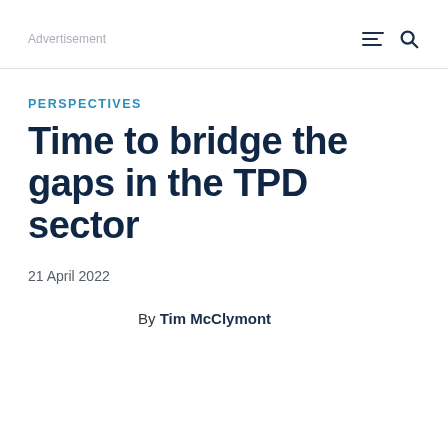Advertisement
PERSPECTIVES
Time to bridge the gaps in the TPD sector
21 April 2022
By Tim McClymont